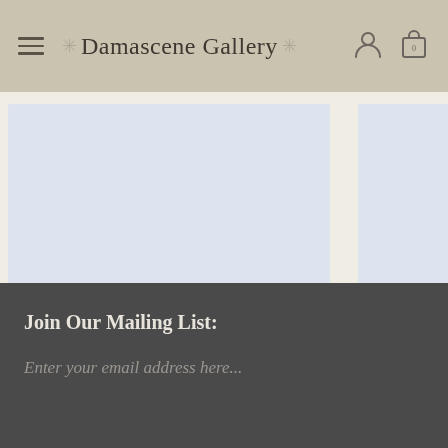Damascene Gallery
[Figure (photo): Product image placeholder for St John of San Francisco icon — light blue-grey rectangle]
St John of San Francisco
From $28.00
[Figure (photo): Partially visible product image placeholder for second St John icon]
St John of
From
Join Our Mailing List:
Enter your email address here...